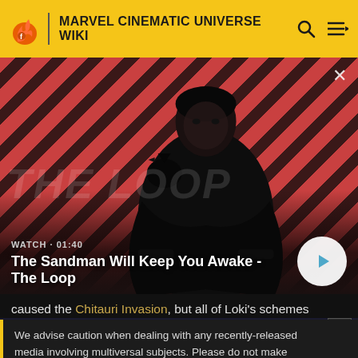MARVEL CINEMATIC UNIVERSE WIKI
[Figure (screenshot): Video thumbnail showing a dark figure in a cape with a raven on his shoulder, against a red and black diagonal stripe background. Title reads 'The Sandman Will Keep You Awake - The Loop'. Watch time 01:40.]
caused the Chitauri Invasion, but all of Loki's schemes
We advise caution when dealing with any recently-released media involving multiversal subjects. Please do not make assumptions regarding confusing wording, other sites' speculation, and people's headcanon around the internet.